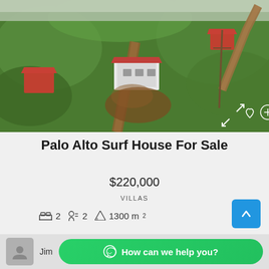[Figure (photo): Aerial drone photo of a surf house property surrounded by dense green tropical vegetation with red-roofed buildings and a dirt road visible]
Palo Alto Surf House For Sale
$220,000
VILLAS
2 bedrooms, 2 bathrooms, 1300 m²
Jim
How can we help you?